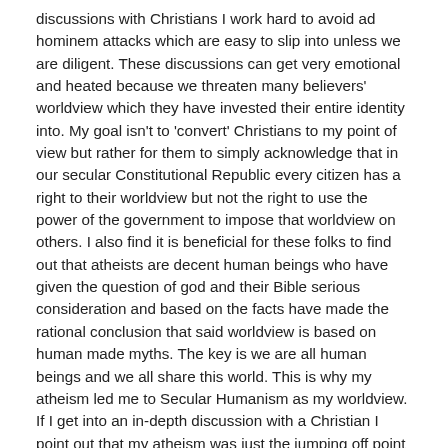discussions with Christians I work hard to avoid ad hominem attacks which are easy to slip into unless we are diligent. These discussions can get very emotional and heated because we threaten many believers' worldview which they have invested their entire identity into. My goal isn't to 'convert' Christians to my point of view but rather for them to simply acknowledge that in our secular Constitutional Republic every citizen has a right to their worldview but not the right to use the power of the government to impose that worldview on others. I also find it is beneficial for these folks to find out that atheists are decent human beings who have given the question of god and their Bible serious consideration and based on the facts have made the rational conclusion that said worldview is based on human made myths. The key is we are all human beings and we all share this world. This is why my atheism led me to Secular Humanism as my worldview. If I get into an in-depth discussion with a Christian I point out that my atheism was just the jumping off point because my worldview is that of a Secular Humanist which will be different from an Objectivist. Of course we are talking about social media where it is difficult to have a civil discussion on just about any subject let alone controversial ones like supernatural belief. The anonymity of Twitter and Facebook makes it far too easy for people to be jerks no matter their worldview. All we can do is lead by example and do our best to influence our fellow atheists to be civil when using social media